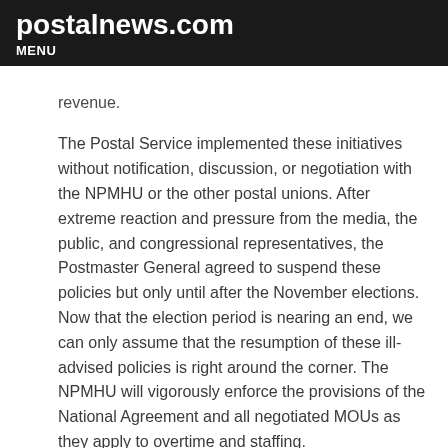postalnews.com
MENU
revenue.
The Postal Service implemented these initiatives without notification, discussion, or negotiation with the NPMHU or the other postal unions.  After extreme reaction and pressure from the media, the public, and congressional representatives, the Postmaster General agreed to suspend these policies but only until after the November elections.  Now that the election period is nearing an end, we can only assume that the resumption of these ill-advised policies is right around the corner.  The NPMHU will vigorously enforce the provisions of the National Agreement and all negotiated MOUs as they apply to overtime and staffing.
Please read your bulletin boards and visit our website (NPMHU.org) and our mobile APP on a regular basis to